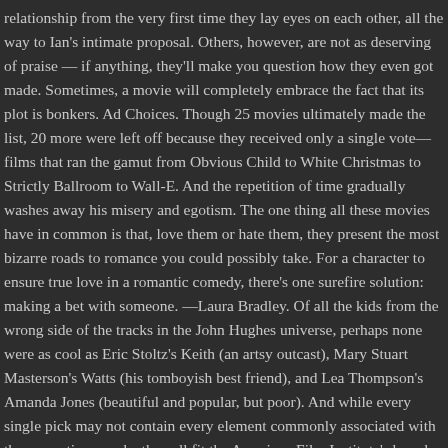relationship from the very first time they lay eyes on each other, all the way to Ian's intimate proposal. Others, however, are not as deserving of praise — if anything, they'll make you question how they even got made. Sometimes, a movie will completely embrace the fact that its plot is bonkers. Ad Choices. Though 25 movies ultimately made the list, 20 more were left off because they received only a single vote—films that ran the gamut from Obvious Child to White Christmas to Strictly Ballroom to Wall-E. And the repetition of time gradually washes away his misery and egotism. The one thing all these movies have in common is that, love them or hate them, they present the most bizarre roads to romance you could possibly take. For a character to ensure true love in a romantic comedy, there's one surefire solution: making a bet with someone. —Laura Bradley. Of all the kids from the wrong side of the tracks in the John Hughes universe, perhaps none were as cool as Eric Stoltz's Keith (an artsy outcast), Mary Stuart Masterson's Watts (his tomboyish best friend), and Lea Thompson's Amanda Jones (beautiful and popular, but poor). And while every single pick may not contain every element commonly associated with the romantic comedy, they all fit the American Film Institute's broad definition of